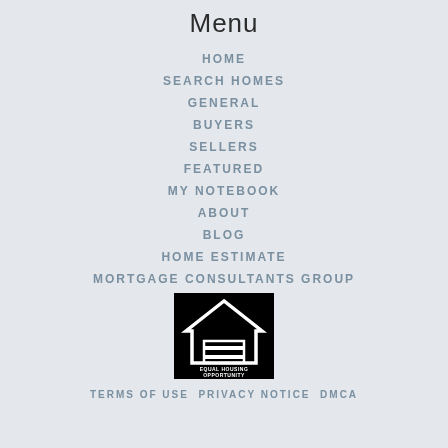Menu
HOME
SEARCH HOMES
GENERAL
BUYERS
SELLERS
FEATURED
MY NOTEBOOK
ABOUT
BLOG
HOME ESTIMATE
MORTGAGE CONSULTANTS GROUP
[Figure (logo): Equal Housing Opportunity logo — black square with white house outline and equals sign, text EQUAL HOUSING OPPORTUNITY]
TERMS OF USE  PRIVACY NOTICE  DMCA